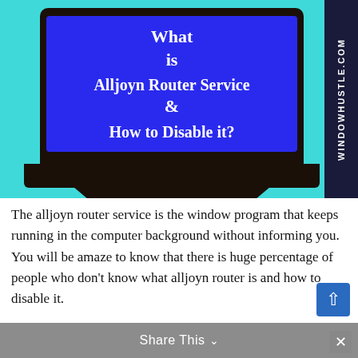[Figure (illustration): Laptop illustration on teal background with dark navy sidebar showing 'WINDOWHUSTLE.COM' vertically. The laptop screen shows bold white text: 'What is Alljoyn Router Service & How to Disable it?']
The alljoyn router service is the window program that keeps running in the computer background without informing you. You will be amaze to know that there is huge percentage of people who don't know what alljoyn router is and how to disable it.
Share This ∨  ×
The most important reason behind disabling this service is